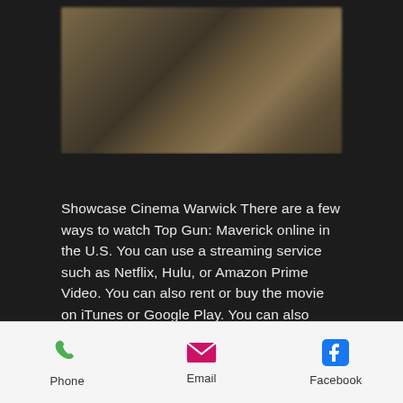[Figure (photo): Blurred movie still image, dark brownish tones, appears to show a person or scene from Top Gun: Maverick]
Showcase Cinema Warwick There are a few ways to watch Top Gun: Maverick online in the U.S. You can use a streaming service such as Netflix, Hulu, or Amazon Prime Video. You can also rent or buy the movie on iTunes or Google Play. You can also watch it on-demand or on a streaming app available on your TV or streaming device if you have
Phone   Email   Facebook